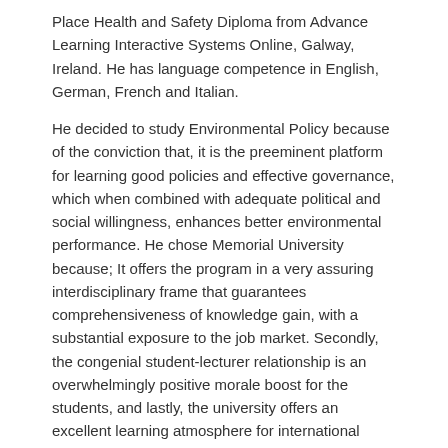Place Health and Safety Diploma from Advance Learning Interactive Systems Online, Galway, Ireland. He has language competence in English, German, French and Italian.
He decided to study Environmental Policy because of the conviction that, it is the preeminent platform for learning good policies and effective governance, which when combined with adequate political and social willingness, enhances better environmental performance. He chose Memorial University because; It offers the program in a very assuring interdisciplinary frame that guarantees comprehensiveness of knowledge gain, with a substantial exposure to the job market. Secondly, the congenial student-lecturer relationship is an overwhelmingly positive morale boost for the students, and lastly, the university offers an excellent learning atmosphere for international students, designed to ensure success.
In September 2015, Ernest went as an intern to Pennecon Ltd, working on an ISO 14001:2004 Project. He performed his duty with great sense of commitment and respect, and this earned him a job offer as Project Environmental Advisor for the Lower Churchill – Muskrat Falls Generation Project, the biggest project in Newfoundland and Labrador. He received his offer with gratitude and extends special thanks to the EPI, the Career